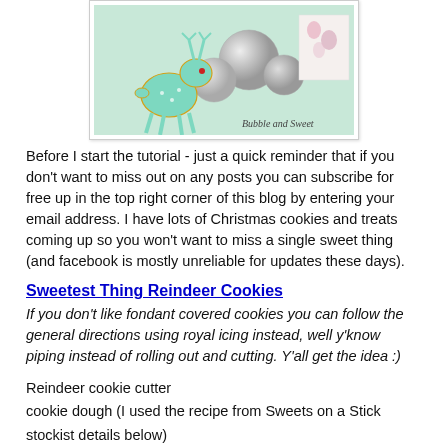[Figure (photo): A mint/teal colored reindeer cookie surrounded by silver Christmas ornament balls and a floral gift box. Watermark text reads 'Bubble and Sweet' in the bottom right corner.]
Before I start the tutorial - just a quick reminder that if you don't want to miss out on any posts you can subscribe for free up in the top right corner of this blog by entering your email address. I have lots of Christmas cookies and treats coming up so you won't want to miss a single sweet thing (and facebook is mostly unreliable for updates these days).
Sweetest Thing Reindeer Cookies
If you don't like fondant covered cookies you can follow the general directions using royal icing instead, well y'know piping instead of rolling out and cutting. Y'all get the idea :)
Reindeer cookie cutter
cookie dough (I used the recipe from Sweets on a Stick stockist details below)
White ready roll fondant (I used Bakels)